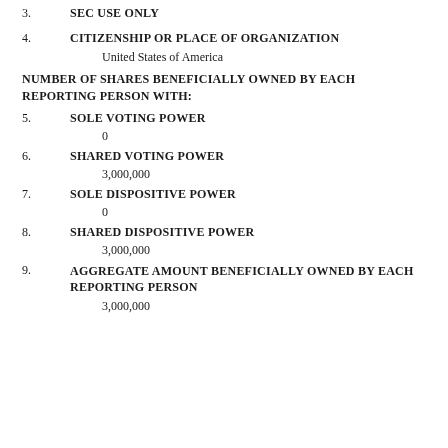3.    SEC USE ONLY
4.    CITIZENSHIP OR PLACE OF ORGANIZATION
United States of America
NUMBER OF SHARES BENEFICIALLY OWNED BY EACH REPORTING PERSON WITH:
5.    SOLE VOTING POWER
0
6.    SHARED VOTING POWER
3,000,000
7.    SOLE DISPOSITIVE POWER
0
8.    SHARED DISPOSITIVE POWER
3,000,000
9.    AGGREGATE AMOUNT BENEFICIALLY OWNED BY EACH REPORTING PERSON
3,000,000